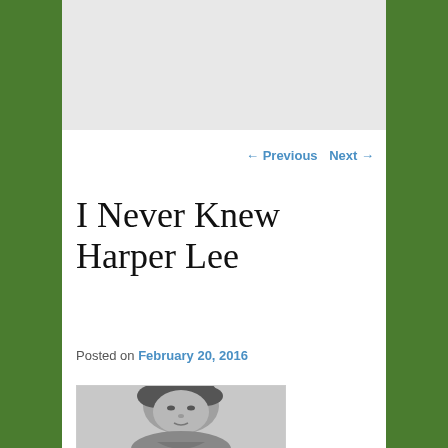← Previous   Next →
I Never Knew Harper Lee
Posted on February 20, 2016
[Figure (photo): Black and white portrait photograph of Harper Lee, showing her face and upper shoulders, looking slightly to the side with a slight smile.]